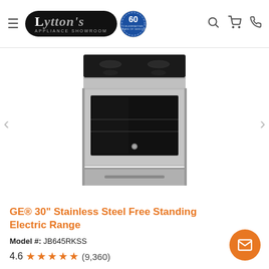[Figure (logo): Lytton's Appliance Showroom logo with 60th anniversary badge]
[Figure (photo): GE 30-inch stainless steel free standing electric range appliance product photo, showing black glass cooktop and stainless steel oven front]
GE® 30" Stainless Steel Free Standing Electric Range
Model #: JB645RKSS
4.6 ★★★★★ (9,360)